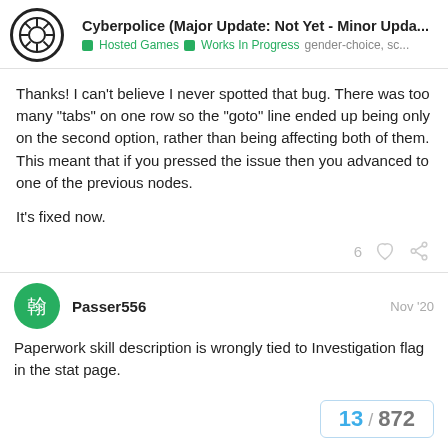Cyberpolice (Major Update: Not Yet - Minor Upda... | Hosted Games | Works In Progress | gender-choice, sc...
Thanks! I can't believe I never spotted that bug. There was too many “tabs” on one row so the “goto” line ended up being only on the second option, rather than being affecting both of them. This meant that if you pressed the issue then you advanced to one of the previous nodes.

It's fixed now.
Passer556  Nov '20
Paperwork skill description is wrongly tied to Investigation flag in the stat page.
13 / 872